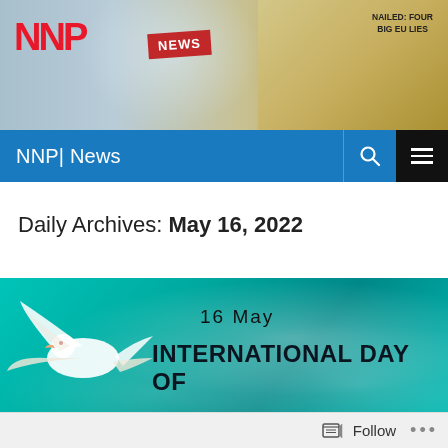[Figure (screenshot): NNP news website header with logo, phone showing NEWS, and newspaper stack in background]
NNP| News
Daily Archives: May 16, 2022
[Figure (illustration): Banner image with teal background, white dove, date 16 May, and text INTERNATIONAL DAY OF]
Follow